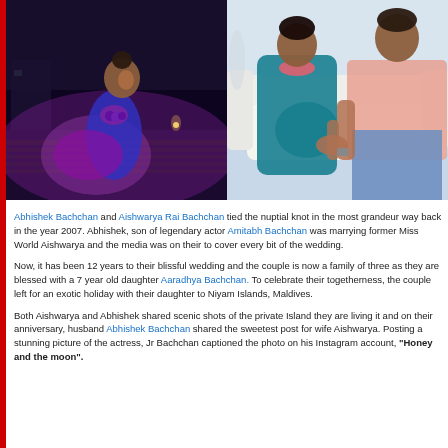[Figure (photo): Two photos side by side: left photo shows a woman in a blue/purple dress with statement necklace seated outdoors at night with purple lighting; right photo shows a couple, woman in teal dress seated with a man in pink shirt.]
Abhishek Bachchan and Aishwarya Rai Bachchan tied the nuptial knot in the most grandeur way back in the year 2007. Abhishek, son of legendary actor Amitabh Bachchan was marrying former Miss World Aishwarya and the media was on their to cover every bit of the wedding.
Now, it has been 12 years to their blissful wedding and the couple is now a family of three as they are blessed with a 7 year old daughter Aaradhya Bachchan. To celebrate their togetherness, the couple left for an exotic holiday with their daughter to Niyam Islands, Maldives.
Both Aishwarya and Abhishek shared scenic shots of the private Island they are living it and on their anniversary, husband Abhishek Bachchan shared the sweetest post for wife Aishwarya. Posting a stunning picture of the actress, Jr Bachchan captioned the photo on his Instagram account, "Honey and the moon".